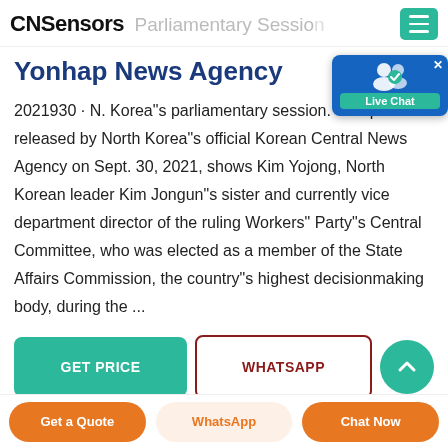CNSensors  Parliamentary Session
Yonhap News Agency
2021930 · N. Korea"s parliamentary session. This p... released by North Korea"s official Korean Central News Agency on Sept. 30, 2021, shows Kim Yojong, North Korean leader Kim Jongun"s sister and currently vice department director of the ruling Workers" Party"s Central Committee, who was elected as a member of the State Affairs Commission, the country"s highest decisionmaking body, during the ...
[Figure (other): Live Chat widget with user icon and teal label]
[Figure (other): GET PRICE teal button, WHATSAPP outlined button, teal circle button]
[Figure (other): Bottom bar with Get a Quote (orange), WhatsApp (light), Chat Now (orange) buttons]